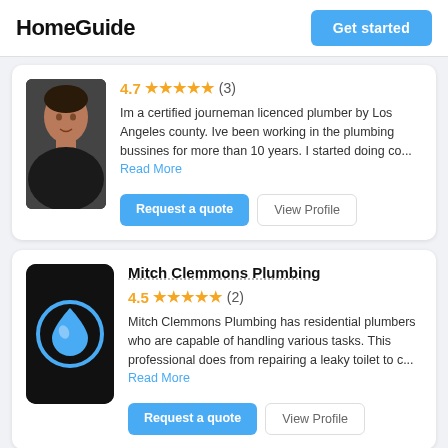HomeGuide  |  Get started
[Figure (photo): Profile photo of a man in a dark shirt, partially cropped at the top]
4.7 ★★★★★ (3)
Im a certified journeman licenced plumber by Los Angeles county. Ive been working in the plumbing bussines for more than 10 years. I started doing co... Read More
Request a quote   View Profile
[Figure (logo): Mitch Clemmons Plumbing logo: black square background with a blue water drop icon and white highlight]
Mitch Clemmons Plumbing
4.5 ★★★★★ (2)
Mitch Clemmons Plumbing has residential plumbers who are capable of handling various tasks. This professional does from repairing a leaky toilet to c... Read More
Request a quote   View Profile